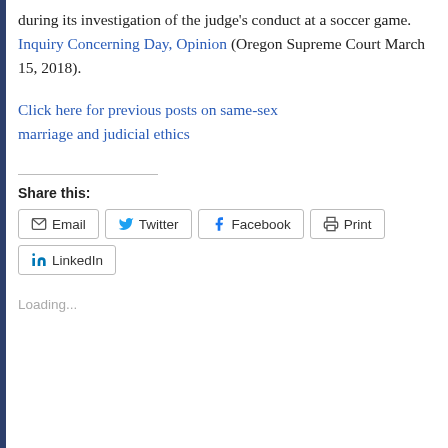during its investigation of the judge's conduct at a soccer game. Inquiry Concerning Day, Opinion (Oregon Supreme Court March 15, 2018).
Click here for previous posts on same-sex marriage and judicial ethics
Share this:
Email Twitter Facebook Print LinkedIn
Loading...